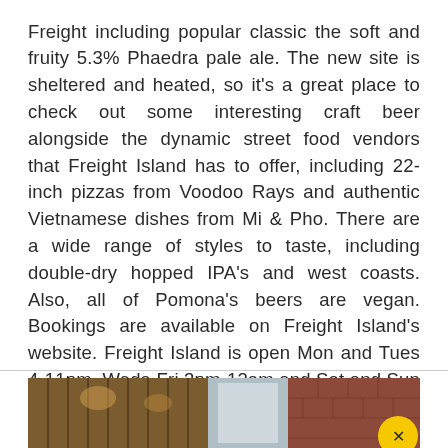Freight including popular classic the soft and fruity 5.3% Phaedra pale ale. The new site is sheltered and heated, so it's a great place to check out some interesting craft beer alongside the dynamic street food vendors that Freight Island has to offer, including 22-inch pizzas from Voodoo Rays and authentic Vietnamese dishes from Mi & Pho. There are a wide range of styles to taste, including double-dry hopped IPA's and west coasts. Also, all of Pomona's beers are vegan. Bookings are available on Freight Island's website. Freight Island is open Mon and Tues 4-11pm, Weds-Fri 3pm-12am and Sat and Sun 12pm-12am.
11 Baring St, Manchester M1 2PZ
[Figure (photo): Interior photo of a bar/restaurant venue at the bottom of the page, partially visible. Shows warm lighting with wooden furniture and structural elements. A yellow circular icon is visible in the bottom right corner.]